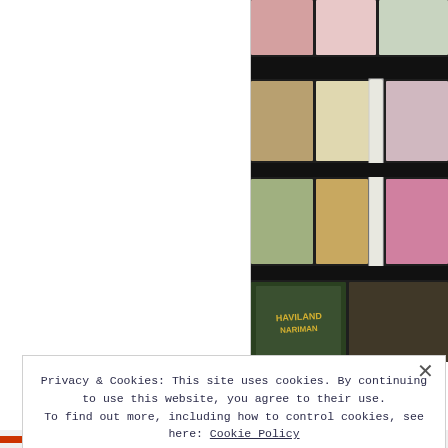[Figure (photo): A display case or store window showing framed movie posters and DVD covers arranged in rows, with a white door frame in the center. The posters appear to be vintage or retro film covers in various colors. The right half of the page shows this photo; the left half is white/blank.]
Privacy & Cookies: This site uses cookies. By continuing to use this website, you agree to their use. To find out more, including how to control cookies, see here: Cookie Policy
Close and accept